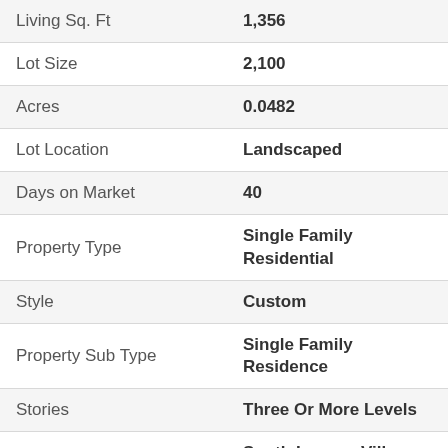| Field | Value |
| --- | --- |
| Living Sq. Ft | 1,356 |
| Lot Size | 2,100 |
| Acres | 0.0482 |
| Lot Location | Landscaped |
| Days on Market | 40 |
| Property Type | Single Family Residential |
| Style | Custom |
| Property Sub Type | Single Family Residence |
| Stories | Three Or More Levels |
| Neighborhood | South Laguna Village (Slv) |